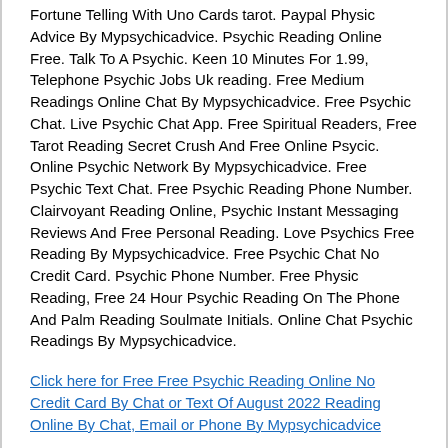Fortune Telling With Uno Cards tarot. Paypal Physic Advice By Mypsychicadvice. Psychic Reading Online Free. Talk To A Psychic. Keen 10 Minutes For 1.99, Telephone Psychic Jobs Uk reading. Free Medium Readings Online Chat By Mypsychicadvice. Free Psychic Chat. Live Psychic Chat App. Free Spiritual Readers, Free Tarot Reading Secret Crush And Free Online Psycic. Online Psychic Network By Mypsychicadvice. Free Psychic Text Chat. Free Psychic Reading Phone Number. Clairvoyant Reading Online, Psychic Instant Messaging Reviews And Free Personal Reading. Love Psychics Free Reading By Mypsychicadvice. Free Psychic Chat No Credit Card. Psychic Phone Number. Free Physic Reading, Free 24 Hour Psychic Reading On The Phone And Palm Reading Soulmate Initials. Online Chat Psychic Readings By Mypsychicadvice.
Click here for Free Free Psychic Reading Online No Credit Card By Chat or Text Of August 2022 Reading Online By Chat, Email or Phone By Mypsychicadvice
Free Psychic Love Reading. Psychic Reading Free. Free Clairvoyant Readings Online, Free Psychic Hotline Phone